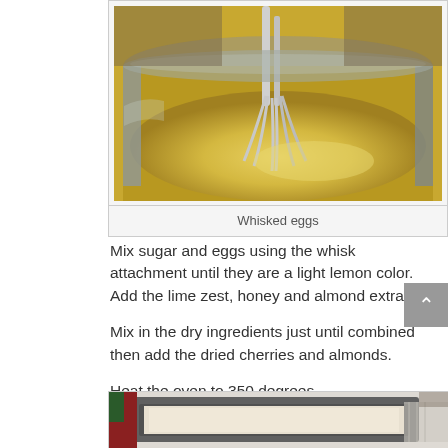[Figure (photo): A mixing bowl with whisked eggs being beaten with a whisk attachment, showing a light yellow creamy mixture]
Whisked eggs
Mix sugar and eggs using the whisk attachment until they are a light lemon color.  Add the lime zest, honey and almond extract.
Mix in the dry ingredients just until combined then add the dried cherries and almonds.
Heat the oven to 350 degrees.
[Figure (photo): A baking pan or tray on a decorative tablecloth, shown partially at the bottom of the page]